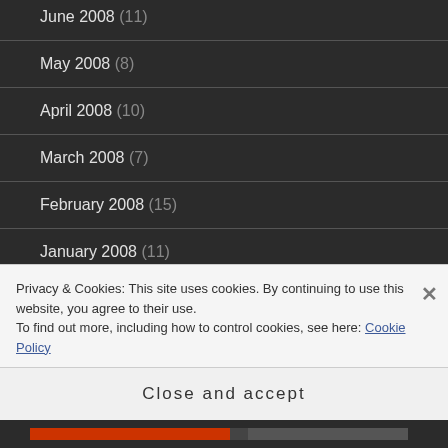June 2008 (11)
May 2008 (8)
April 2008 (10)
March 2008 (7)
February 2008 (15)
January 2008 (11)
December 2007 (14)
November 2007 (11)
Privacy & Cookies: This site uses cookies. By continuing to use this website, you agree to their use. To find out more, including how to control cookies, see here: Cookie Policy
Close and accept